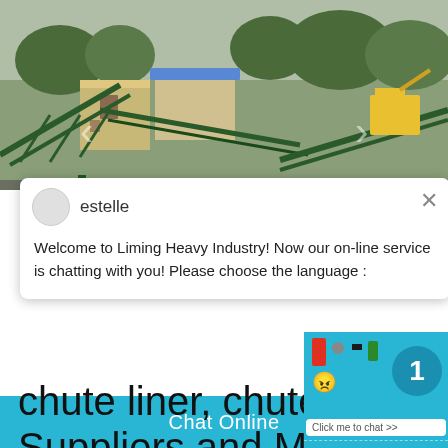[Figure (photo): Aerial view of an industrial facility showing green metal conveyor belt structures, factory buildings with blue roofs, brick walls, a yellow excavator, and surrounding trees under overcast sky.]
estelle
Welcome to Liming Heavy Industry! Now our on-line service is chatting with you! Please choose the language :
chute liner, chute line... Suppliers and Manufa...
Chat Online
1
Click me to chat >>
Enquiry
cywaitml@gmail.com